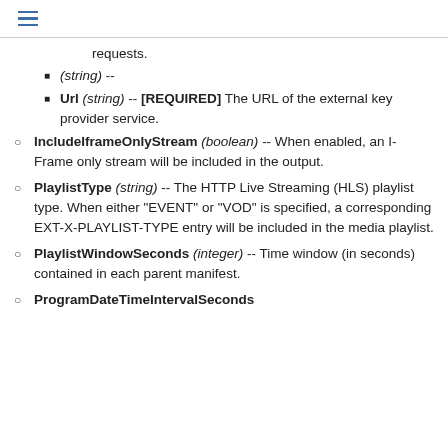≡
requests.
(string) --
Url (string) -- [REQUIRED] The URL of the external key provider service.
IncludeIframeOnlyStream (boolean) -- When enabled, an I-Frame only stream will be included in the output.
PlaylistType (string) -- The HTTP Live Streaming (HLS) playlist type. When either "EVENT" or "VOD" is specified, a corresponding EXT-X-PLAYLIST-TYPE entry will be included in the media playlist.
PlaylistWindowSeconds (integer) -- Time window (in seconds) contained in each parent manifest.
ProgramDateTimeIntervalSeconds